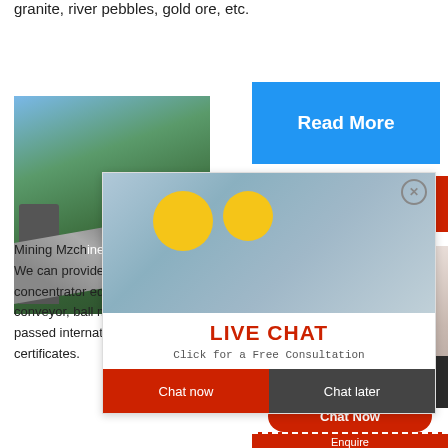granite, river pebbles, gold ore, etc.
[Figure (photo): Mining facility with conveyor belts and silos against green mountain backdrop]
[Figure (screenshot): Read More button in blue]
Excellent copper ore crusher made by
[Figure (infographic): Live chat overlay with workers in hard hats and LIVE CHAT text, Chat now and Chat later buttons]
[Figure (photo): Customer service agent with headset]
Hrs Online
Mining Mzch... crushing and... We can provide some of the most importa... concentrator equipment such as cone cru... conveyor, ball mill etc, which are of high c... passed international ISO9001:2000 certi... certificates.
Need questions & suggestion?
Chat Now
Enquire